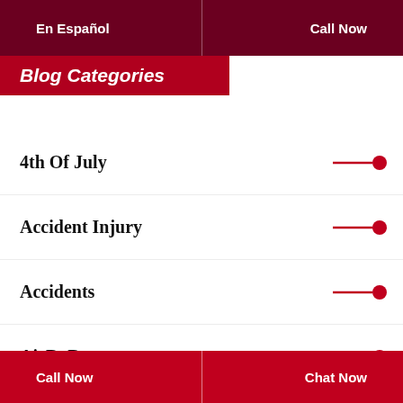En Español | Call Now
Blog Categories
4th Of July
Accident Injury
Accidents
AirBnB
Auto Accidents
Auto Defects
Call Now | Chat Now